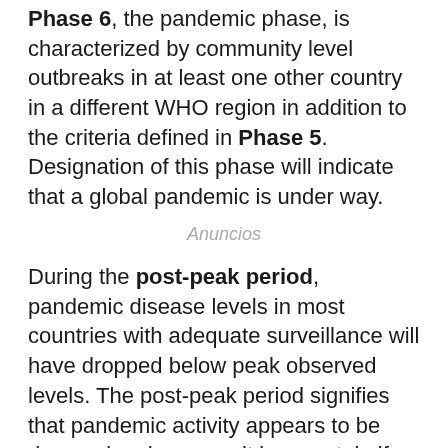Phase 6, the pandemic phase, is characterized by community level outbreaks in at least one other country in a different WHO region in addition to the criteria defined in Phase 5. Designation of this phase will indicate that a global pandemic is under way.
Anuncios
During the post-peak period, pandemic disease levels in most countries with adequate surveillance will have dropped below peak observed levels. The post-peak period signifies that pandemic activity appears to be decreasing; however, it is uncertain if additional waves will occur and countries will need to be prepared for a second wave.
Previous pandemics have been characterized by waves of activity spread over months. Once the level of disease activity drops, a critical communications task will be to balance this information with the possibility